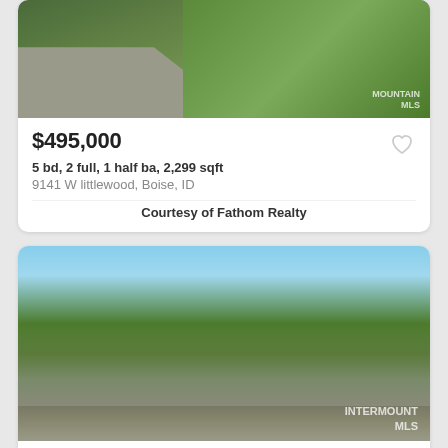[Figure (photo): Aerial/top-down view of a house with green lawn and a gray road/driveway visible, with MLS watermark]
$495,000
5 bd, 2 full, 1 half ba, 2,299 sqft
9141 W littlewood, Boise, ID
Courtesy of Fathom Realty
[Figure (photo): Front exterior photo of a ranch-style home with large trees, white garage, and MLS watermark]
$498,000
4 bd, 2 full ba, 1,000+ sqft